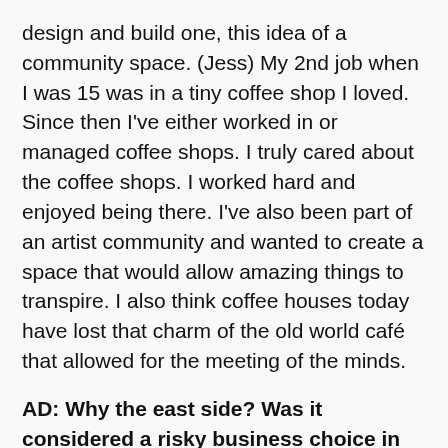design and build one, this idea of a community space. (Jess) My 2nd job when I was 15 was in a tiny coffee shop I loved. Since then I've either worked in or managed coffee shops. I truly cared about the coffee shops. I worked hard and enjoyed being there. I've also been part of an artist community and wanted to create a space that would allow amazing things to transpire. I also think coffee houses today have lost that charm of the old world café that allowed for the meeting of the minds.
AD: Why the east side? Was it considered a risky business choice in the beginning?